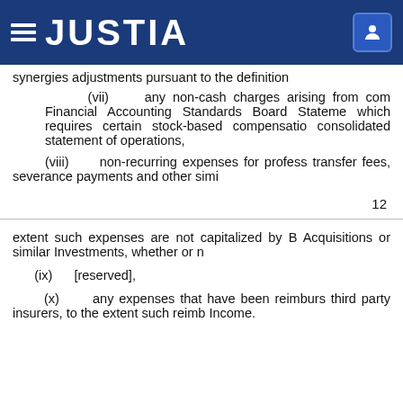JUSTIA
synergies adjustments pursuant to the definition
(vii) any non-cash charges arising from com Financial Accounting Standards Board Stateme which requires certain stock-based compensatio consolidated statement of operations,
(viii) non-recurring expenses for profess transfer fees, severance payments and other simi
12
extent such expenses are not capitalized by B Acquisitions or similar Investments, whether or n
(ix) [reserved],
(x) any expenses that have been reimburs third party insurers, to the extent such reimb Income.